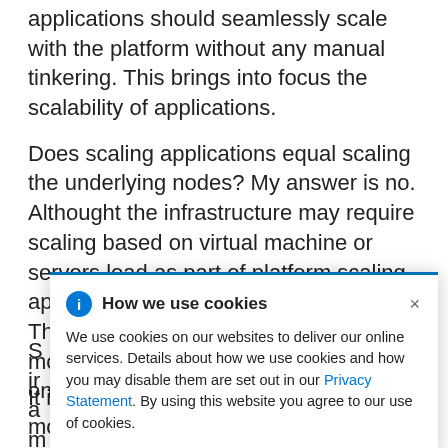applications should seamlessly scale with the platform without any manual tinkering. This brings into focus the scalability of applications.
Does scaling applications equal scaling the underlying nodes? My answer is no. Althought the infrastructure may require scaling based on virtual machine or servers load as part of platform scaling, application scaling is entirely different. The platform should be able to spawn more instances of the application based on application usage.
S[obscured by cookie popup]... ir[obscured]...quire actual a[obscured]...or bare m[obscured]... W[obscured]...e done by m[obscured]...re already in u[obscured]...he platform.
[Figure (other): Cookie consent popup overlay with blue top border. Contains info icon, title 'How we use cookies', close button (×), and body text about cookie usage with a Privacy Statement link.]
It is the core capability of PaaS and a bit more